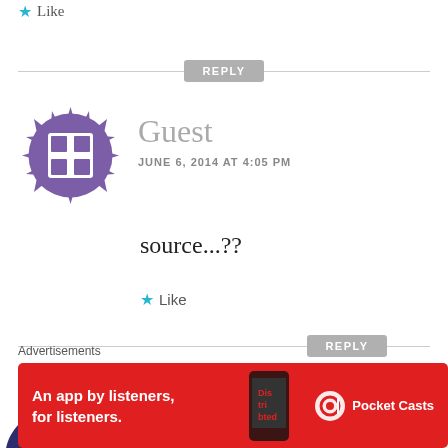Like
REPLY
[Figure (illustration): Purple geometric avatar icon for Guest user]
Guest
JUNE 6, 2014 AT 4:05 PM
source...??
Like
REPLY
[Figure (illustration): Dark blue geometric quilt-pattern avatar for Murali]
Murali
JUNE 6, 2014 AT 11:58 AM
Advertisements
[Figure (screenshot): Pocket Casts red advertisement banner reading 'An app by listeners, for listeners.']